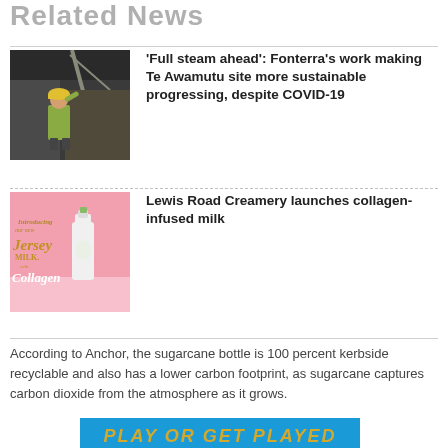Related News
[Figure (photo): Worker in yellow high-visibility vest in an industrial/factory setting with machinery and crane in background]
'Full steam ahead': Fonterra's work making Te Awamutu site more sustainable progressing, despite COVID-19
[Figure (photo): Pink background product image: Jersey Milk with Collagen bottle and branding]
Lewis Road Creamery launches collagen-infused milk
According to Anchor, the sugarcane bottle is 100 percent kerbside recyclable and also has a lower carbon footprint, as sugarcane captures carbon dioxide from the atmosphere as it grows.
[Figure (photo): Blue banner with gold italic text reading PLAY OR GET PLAYED]